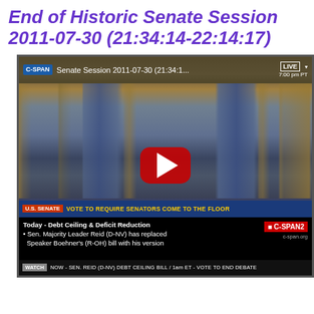End of Historic Senate Session 2011-07-30 (21:34:14-22:14:17)
[Figure (screenshot): Screenshot of a C-SPAN2 YouTube video showing the U.S. Senate chamber during a session on 2011-07-30. The video title reads 'Senate Session 2011-07-30 (21:34:1...' with a LIVE badge showing '7:00 pm PT'. A large red YouTube play button is centered on the image. The bottom of the video shows news ticker bars: 'U.S. SENATE | VOTE TO REQUIRE SENATORS COME TO THE FLOOR', 'Today - Debt Ceiling & Deficit Reduction • Sen. Majority Leader Reid (D-NV) has replaced Speaker Boehner's (R-OH) bill with his version', C-SPAN2 logo, and 'WATCH | NOW - SEN. REID (D-NV) DEBT CEILING BILL / 1am ET - VOTE TO END DEBATE'.]